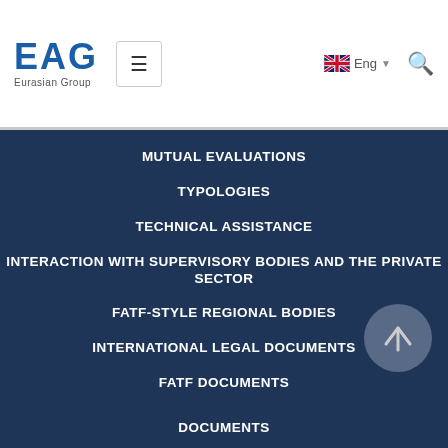[Figure (logo): EAG Eurasian Group logo with hamburger menu, English language selector with UK flag, and search icon in white header bar]
MUTUAL EVALUATIONS
TYPOLOGIES
TECHNICAL ASSISTANCE
INTERACTION WITH SUPERVISORY BODIES AND THE PRIVATE SECTOR
FATF-STYLE REGIONAL BODIES
INTERNATIONAL LEGAL DOCUMENTS
FATF DOCUMENTS
DOCUMENTS
EVENTS